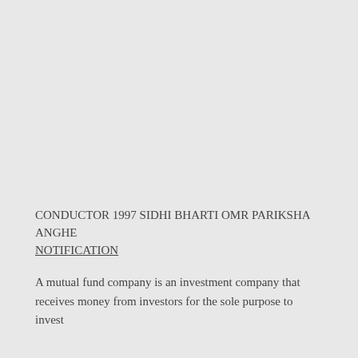CONDUCTOR 1997 SIDHI BHARTI OMR PARIKSHA ANGHE NOTIFICATION
A mutual fund company is an investment company that receives money from investors for the sole purpose to invest